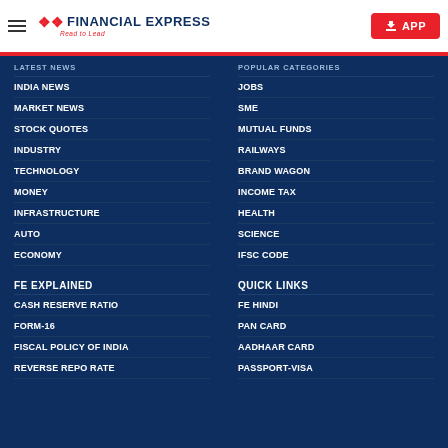Financial Express — Read to Lead | APP
LATEST NEWS
INDIA NEWS
MARKET NEWS
STOCK QUOTES
INDUSTRY
TECHNOLOGY
MONEY
INFRASTRUCTURE
AUTO
ECONOMY
POPULAR CATEGORIES
JOBS
SME
MUTUAL FUNDS
RAILWAYS
BRAND WAGON
INCOME TAX
HEALTH
SCIENCE
IFSC CODE
FE EXPLAINED
CASH RESERVE RATIO
FORM-16
FISCAL POLICY OF INDIA
REVERSE REPO RATE
QUICK LINKS
FE HINDI
PAN CARD
AADHAAR CARD
PASSPORT-VISA